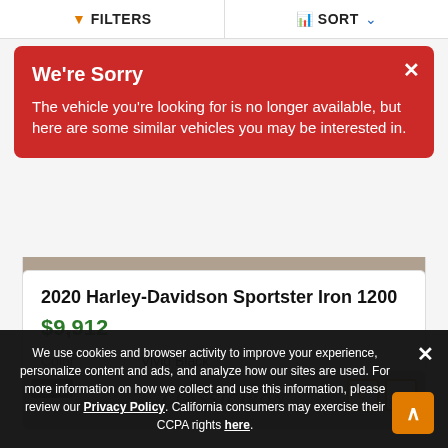FILTERS   SORT
We're Sorry
The vehicle you're looking for is no longer available, but here are some similar vehicles you may be interested in.
2020 Harley-Davidson Sportster Iron 1200
$9,912
Color   Vivid Black
Miles   1,428
[Figure (screenshot): Partial thumbnail of a second vehicle listing showing ClassicIron watermark]
We use cookies and browser activity to improve your experience, personalize content and ads, and analyze how our sites are used. For more information on how we collect and use this information, please review our Privacy Policy. California consumers may exercise their CCPA rights here.